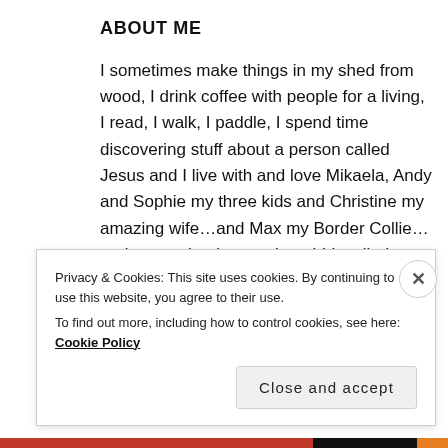ABOUT ME
I sometimes make things in my shed from wood, I drink coffee with people for a living, I read, I walk, I paddle, I spend time discovering stuff about a person called Jesus and I live with and love Mikaela, Andy and Sophie my three kids and Christine my amazing wife…and Max my Border Collie…and some chooks…and a rabbit called chook.
Privacy & Cookies: This site uses cookies. By continuing to use this website, you agree to their use.
To find out more, including how to control cookies, see here: Cookie Policy
Close and accept